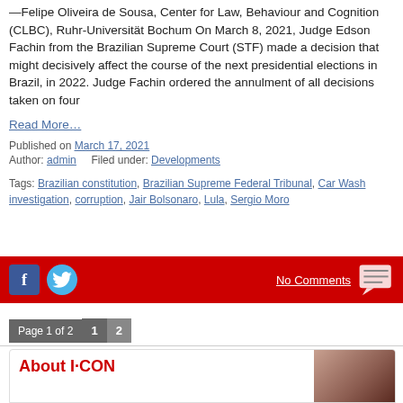—Felipe Oliveira de Sousa, Center for Law, Behaviour and Cognition (CLBC), Ruhr-Universität Bochum On March 8, 2021, Judge Edson Fachin from the Brazilian Supreme Court (STF) made a decision that might decisively affect the course of the next presidential elections in Brazil, in 2022. Judge Fachin ordered the annulment of all decisions taken on four
Read More…
Published on March 17, 2021
Author: admin    Filed under: Developments
Tags: Brazilian constitution, Brazilian Supreme Federal Tribunal, Car Wash investigation, corruption, Jair Bolsonaro, Lula, Sergio Moro
[Figure (infographic): Red bar with Facebook and Twitter social icons on left, No Comments link and comment bubble icon on right]
Page 1 of 2  1  2
[Figure (photo): About I·CON section header with partial photo of a person in upper right corner]